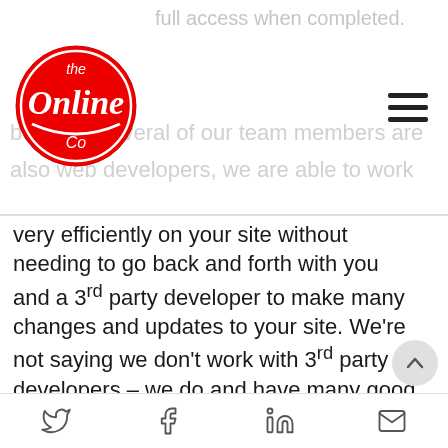full access when completed. ...because several of our team members are also web developers, we are able to work
[Figure (logo): The Online Co logo — red circular badge with script text 'the Online Co']
very efficiently on your site without needing to go back and forth with you and a 3rd party developer to make many changes and updates to your site. We're not saying we don't work with 3rd party developers – we do and have many good working relationships with developers for many businesses. We are able to do many tasks that many Parramatta SEO agencies have difficulty with if they
Twitter  Facebook  LinkedIn  Email icons